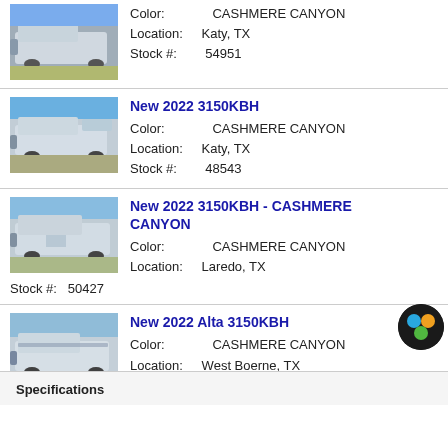Color: CASHMERE CANYON | Location: Katy, TX | Stock #: 54951
New 2022 3150KBH | Color: CASHMERE CANYON | Location: Katy, TX | Stock #: 48543
New 2022 3150KBH - CASHMERE CANYON | Color: CASHMERE CANYON | Location: Laredo, TX | Stock #: 50427
New 2022 Alta 3150KBH | Color: CASHMERE CANYON | Location: West Boerne, TX | Stock #: 48542
Specifications